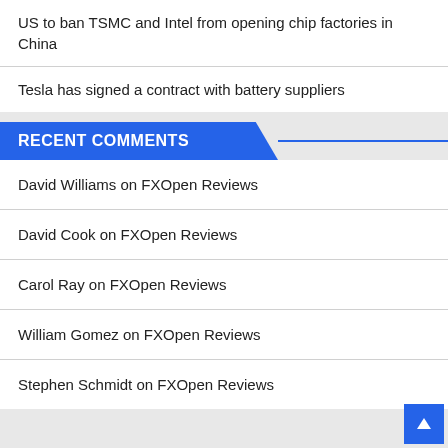US to ban TSMC and Intel from opening chip factories in China
Tesla has signed a contract with battery suppliers
RECENT COMMENTS
David Williams on FXOpen Reviews
David Cook on FXOpen Reviews
Carol Ray on FXOpen Reviews
William Gomez on FXOpen Reviews
Stephen Schmidt on FXOpen Reviews